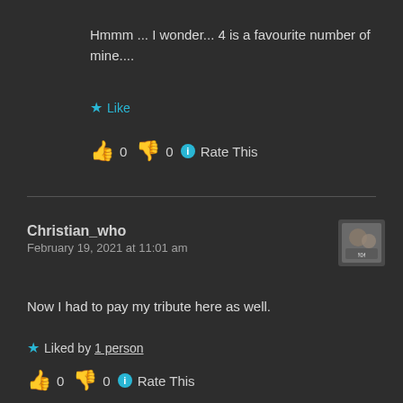Hmmm ... I wonder... 4 is a favourite number of mine....
★ Like
👍 0 👎 0 ℹ Rate This
Christian_who
February 19, 2021 at 11:01 am
Now I had to pay my tribute here as well.
★ Liked by 1 person
👍 0 👎 0 ℹ Rate This